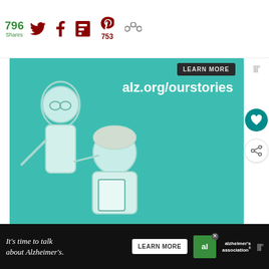796 Shares — social share bar with Twitter, Facebook, Flipboard, Pinterest (753), and other icon
[Figure (illustration): Alzheimer's Association advertisement banner: teal background with illustrated elderly people and text 'alz.org/ourstories', 'LEARN MORE' button, Alzheimer's Association logo with 'ad' badge]
Pumpkin Whoppie Pies
[Figure (infographic): WHAT'S NEXT panel showing circular food image (orange pumpkin-colored) with text 'Leftover Panettone...']
[Figure (illustration): Bottom banner ad: dark background with text "It's time to talk about Alzheimer's.", LEARN MORE button, Alzheimer's Association logo]